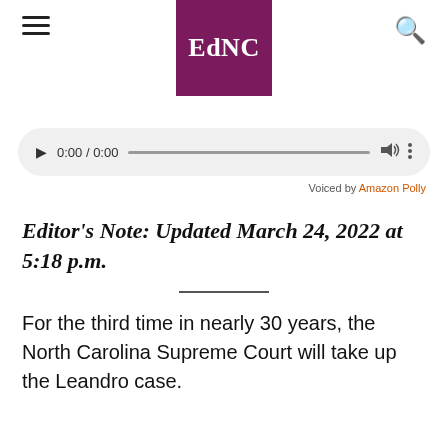EdNC
[Figure (other): Audio player widget showing 0:00 / 0:00 with play button, progress bar, volume icon, and more options icon]
Voiced by Amazon Polly
Editor's Note: Updated March 24, 2022 at 5:18 p.m.
For the third time in nearly 30 years, the North Carolina Supreme Court will take up the Leandro case.